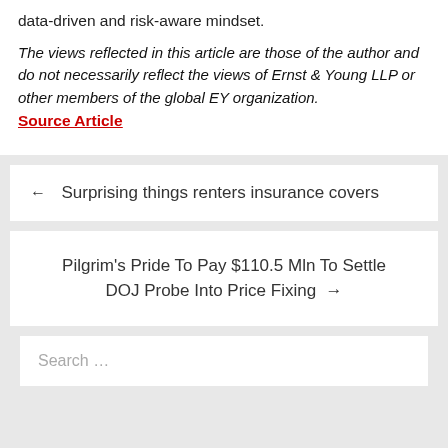data-driven and risk-aware mindset.
The views reflected in this article are those of the author and do not necessarily reflect the views of Ernst & Young LLP or other members of the global EY organization. Source Article
← Surprising things renters insurance covers
Pilgrim's Pride To Pay $110.5 Mln To Settle DOJ Probe Into Price Fixing →
Search …